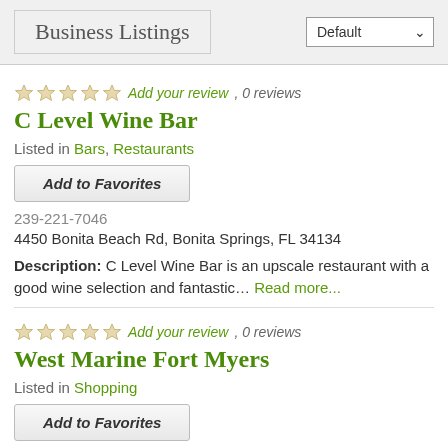Business Listings
Add your review, 0 reviews
C Level Wine Bar
Listed in Bars, Restaurants
Add to Favorites
239-221-7046
4450 Bonita Beach Rd, Bonita Springs, FL 34134
Description: C Level Wine Bar is an upscale restaurant with a good wine selection and fantastic… Read more...
Add your review, 0 reviews
West Marine Fort Myers
Listed in Shopping
Add to Favorites